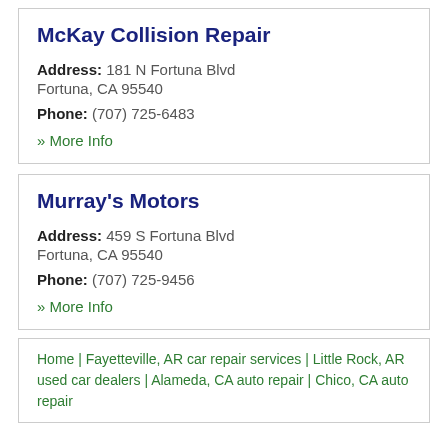McKay Collision Repair
Address: 181 N Fortuna Blvd Fortuna, CA 95540
Phone: (707) 725-6483
» More Info
Murray's Motors
Address: 459 S Fortuna Blvd Fortuna, CA 95540
Phone: (707) 725-9456
» More Info
Home | Fayetteville, AR car repair services | Little Rock, AR used car dealers | Alameda, CA auto repair | Chico, CA auto repair